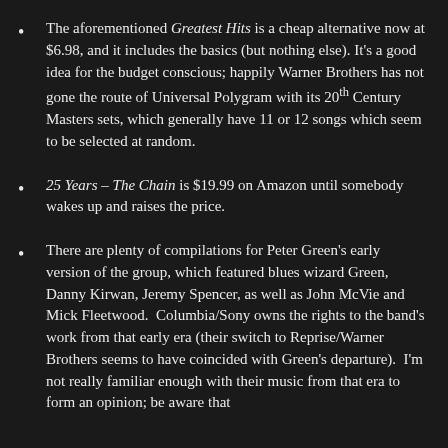The aforementioned Greatest Hits is a cheap alternative now at $6.98, and it includes the basics (but nothing else). It's a good idea for the budget conscious; happily Warner Brothers has not gone the route of Universal Polygram with its 20th Century Masters sets, which generally have 11 or 12 songs which seem to be selected at random.
25 Years – The Chain is $19.99 on Amazon until somebody wakes up and raises the price.
There are plenty of compilations for Peter Green's early version of the group, which featured blues wizard Green, Danny Kirwan, Jeremy Spencer, as well as John McVie and Mick Fleetwood.  Columbia/Sony owns the rights to the band's work from that early era (their switch to Reprise/Warner Brothers seems to have coincided with Green's departure).  I'm not really familiar enough with their music from that era to form an opinion; be aware that